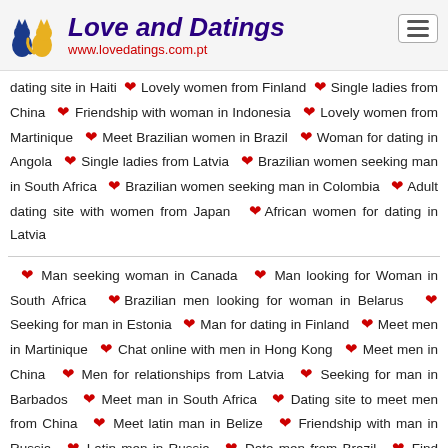Love and Datings
www.lovedatings.com.pt
dating site in Haiti ❤ Lovely women from Finland ❤ Single ladies from China ❤ Friendship with woman in Indonesia ❤ Lovely women from Martinique ❤ Meet Brazilian women in Brazil ❤ Woman for dating in Angola ❤ Single ladies from Latvia ❤ Brazilian women seeking man in South Africa ❤ Brazilian women seeking man in Colombia ❤ Adult dating site with women from Japan ❤ African women for dating in Latvia
❤ Man seeking woman in Canada ❤ Man looking for Woman in South Africa ❤ Brazilian men looking for woman in Belarus ❤ Seeking for man in Estonia ❤ Man for dating in Finland ❤ Meet men in Martinique ❤ Chat online with men in Hong Kong ❤ Meet men in China ❤ Men for relationships from Latvia ❤ Seeking for man in Barbados ❤ Meet man in South Africa ❤ Dating site to meet men from China ❤ Meet latin man in Belize ❤ Friendship with man in Russia ❤ Latin men in Russia ❤ Date men from Brazil ❤ Find mature men for dating in Sweden ❤ Brazilian men dating abroad ❤ African men for dating in Nigeria ❤ Meet